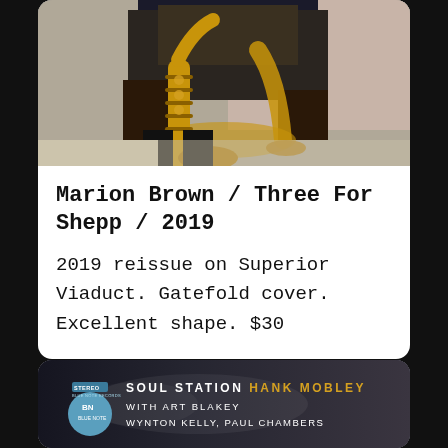[Figure (photo): Photo of a saxophone on the floor with someone standing behind it, wearing a knit sweater/jacket]
Marion Brown / Three For Shepp / 2019
2019 reissue on Superior Viaduct. Gatefold cover. Excellent shape. $30
[Figure (photo): Album cover for Soul Station by Hank Mobley with Art Blakey, Wynton Kelly, Paul Chambers — Blue Note Records, Stereo]